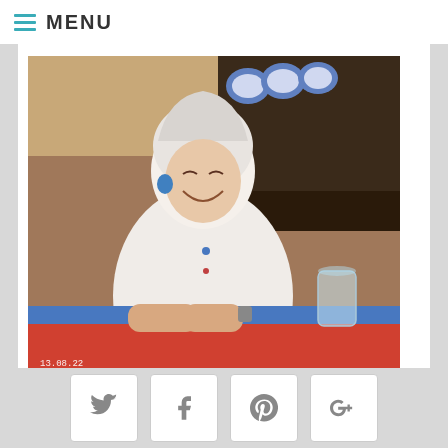MENU
[Figure (photo): Elderly woman with white hair sitting at a table with a blue and red tablecloth, laughing, with a glass of water nearby. Timestamp 13.08.22 visible in lower left corner.]
NEW PODCAST WITH SHIRLEY BATTIE
August 18, 2022
[Figure (photo): Partial image of another article, cropped at bottom of page.]